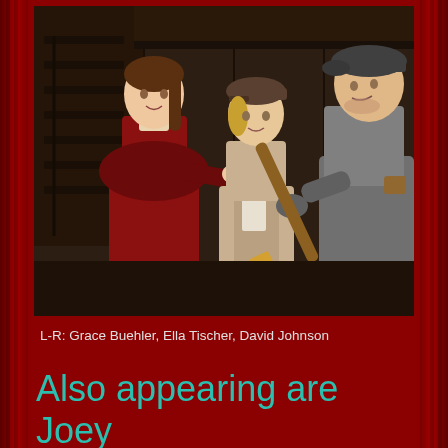[Figure (photo): Three theater performers on stage: a girl in a red dress on the left (Grace Buehler), a young child in a beige jacket and cap in the center (Ella Tischer), and a person in a gray coat with a red scarf holding a broom/stick on the right (David Johnson). Dark wooden set backdrop with staircase visible.]
L-R: Grace Buehler, Ella Tischer, David Johnson
Also appearing are Joey Draper, Josie Tischer, Ashley